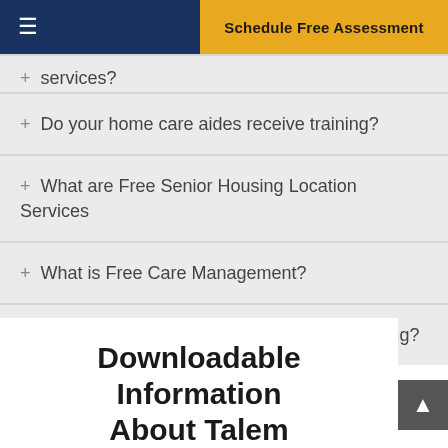≡   Schedule Free Assessment
+ services? (partial, clipped)
+ Do your home care aides receive training?
+ What are Free Senior Housing Location Services
+ What is Free Care Management?
+ What are the different types of Senior Housing?
Downloadable Information About Talem